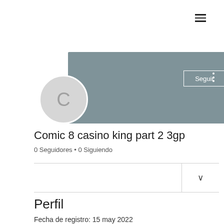[Figure (screenshot): Hamburger menu icon (three horizontal lines) in top right corner]
[Figure (photo): Grey banner/cover image for user profile]
[Figure (illustration): Circular avatar with letter C in grey]
Seguir
Comic 8 casino king part 2 3gp
0 Seguidores • 0 Siguiendo
Perfil
Fecha de registro: 15 may 2022
Sol